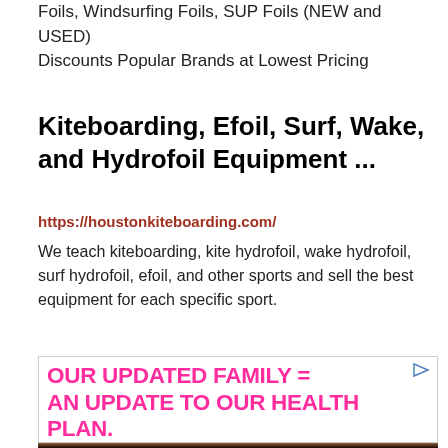Foils, Windsurfing Foils, SUP Foils (NEW and USED) Discounts Popular Brands at Lowest Pricing
Kiteboarding, Efoil, Surf, Wake, and Hydrofoil Equipment ...
https://houstonkiteboarding.com/
We teach kiteboarding, kite hydrofoil, wake hydrofoil, surf hydrofoil, efoil, and other sports and sell the best equipment for each specific sport.
[Figure (photo): Advertisement banner with pink bold text reading 'OUR UPDATED FAMILY = AN UPDATE TO OUR HEALTH PLAN.' with a small triangle/play icon in top right corner, followed by a photo of a family (adults and child) lying together]
[Figure (photo): Photo of a family — a man and woman with a child — lying together, smiling]